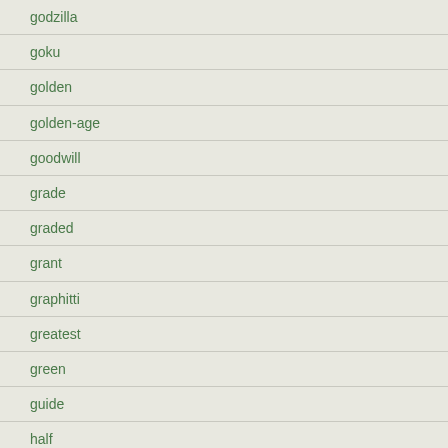godzilla
goku
golden
golden-age
goodwill
grade
graded
grant
graphitti
greatest
green
guide
half
hardlee
harley